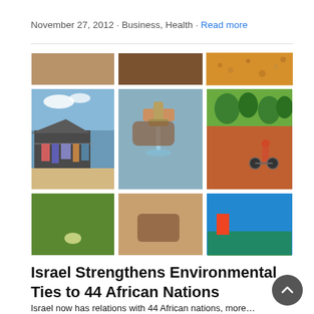November 27, 2012 · Business, Health · Read more
[Figure (photo): 3x3 grid of photos showing African scenes: clothing on a line, a water tap with flowing water, a person on a bicycle, food grains, and other everyday life scenes.]
Israel Strengthens Environmental Ties to 44 African Nations
Israel now has relations with 44 African nations, more…